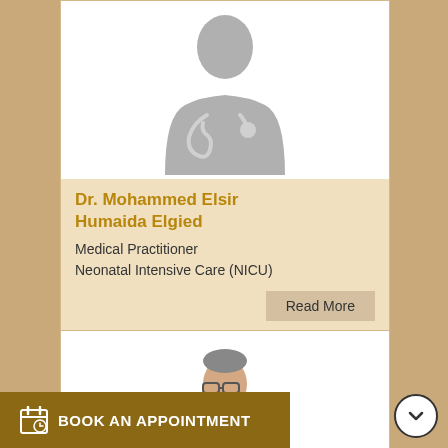[Figure (photo): Generic doctor silhouette placeholder with stethoscope on white background]
Dr. Mohammed Elsir Humaida Elgied
Medical Practitioner
Neonatal Intensive Care (NICU)
Read More
[Figure (photo): Partial photo of a male doctor with glasses, partially visible]
BOOK AN APPOINTMENT